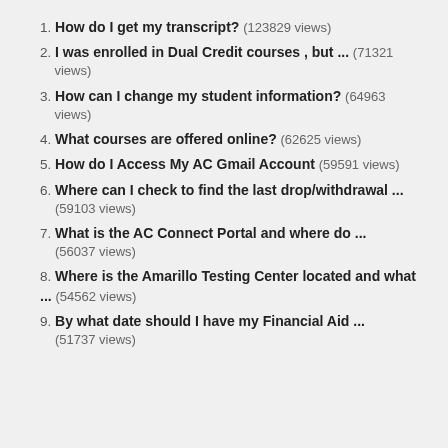1. How do I get my transcript? (123829 views)
2. I was enrolled in Dual Credit courses , but ... (71321 views)
3. How can I change my student information? (64963 views)
4. What courses are offered online? (62625 views)
5. How do I Access My AC Gmail Account (59591 views)
6. Where can I check to find the last drop/withdrawal ... (59103 views)
7. What is the AC Connect Portal and where do ... (56037 views)
8. Where is the Amarillo Testing Center located and what ... (54562 views)
9. By what date should I have my Financial Aid ... (51737 views)